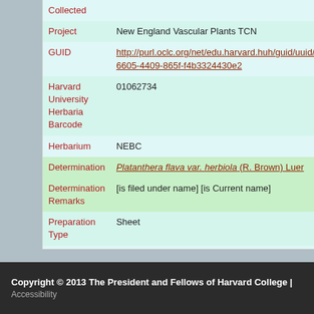| Field | Value |
| --- | --- |
| Collected |  |
| Project | New England Vascular Plants TCN |
| GUID | http://purl.oclc.org/net/edu.harvard.huh/guid/uuid/500...6605-4409-865f-f4b3324430e2 |
| Harvard University Herbaria Barcode | 01062734 |
| Herbarium | NEBC |
| Determination | Platanthera flava var. herbiola (R. Brown) Luer |
| Determination Remarks | [is filed under name] [is Current name] |
| Preparation Type | Sheet |
| Preparation Method | Pressed |
Copyright © 2013 The President and Fellows of Harvard College | Accessibility